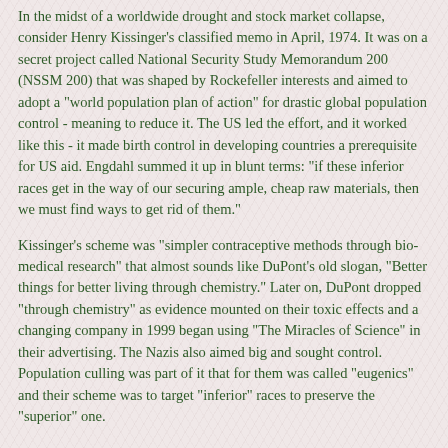In the midst of a worldwide drought and stock market collapse, consider Henry Kissinger's classified memo in April, 1974. It was on a secret project called National Security Study Memorandum 200 (NSSM 200) that was shaped by Rockefeller interests and aimed to adopt a "world population plan of action" for drastic global population control - meaning to reduce it. The US led the effort, and it worked like this - it made birth control in developing countries a prerequisite for US aid. Engdahl summed it up in blunt terms: "if these inferior races get in the way of our securing ample, cheap raw materials, then we must find ways to get rid of them."
Kissinger's scheme was "simpler contraceptive methods through bio-medical research" that almost sounds like DuPont's old slogan, "Better things for better living through chemistry." Later on, DuPont dropped "through chemistry" as evidence mounted on their toxic effects and a changing company in 1999 began using "The Miracles of Science" in their advertising. The Nazis also aimed big and sought control. Population culling was part of it that for them was called "eugenics" and their scheme was to target "inferior" races to preserve the "superior" one.